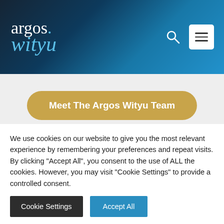argos wityu — navigation header with search and menu icons
Meet The Argos Wityu Team
Join Us
We use cookies on our website to give you the most relevant experience by remembering your preferences and repeat visits. By clicking "Accept All", you consent to the use of ALL the cookies. However, you may visit "Cookie Settings" to provide a controlled consent.
Cookie Settings | Accept All